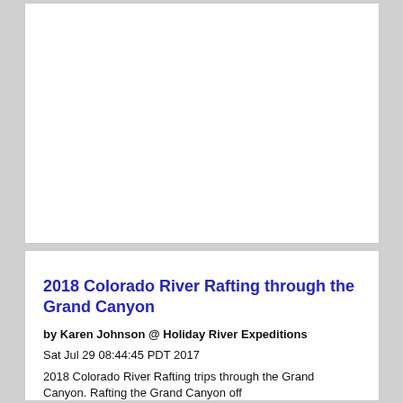[Figure (photo): Empty white card/box region at top of page]
2018 Colorado River Rafting through the Grand Canyon
by Karen Johnson @ Holiday River Expeditions
Sat Jul 29 08:44:45 PDT 2017
2018 Colorado River Rafting trips through the Grand Canyon. Rafting the Grand Canyon off...